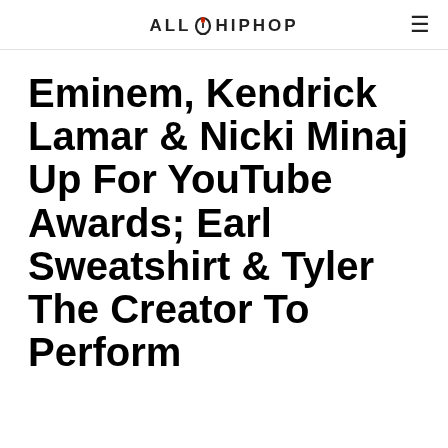ALL HIP HOP
Eminem, Kendrick Lamar & Nicki Minaj Up For YouTube Awards; Earl Sweatshirt & Tyler The Creator To Perform